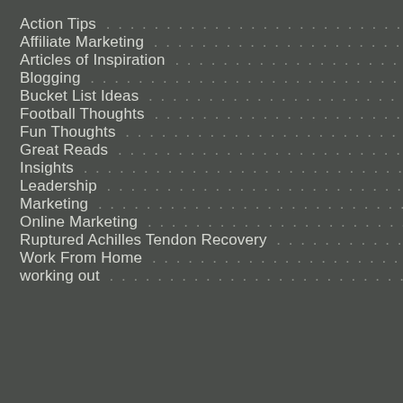Action Tips
Affiliate Marketing
Articles of Inspiration
Blogging
Bucket List Ideas
Football Thoughts
Fun Thoughts
Great Reads
Insights
Leadership
Marketing
Online Marketing
Ruptured Achilles Tendon Recovery
Work From Home
working out